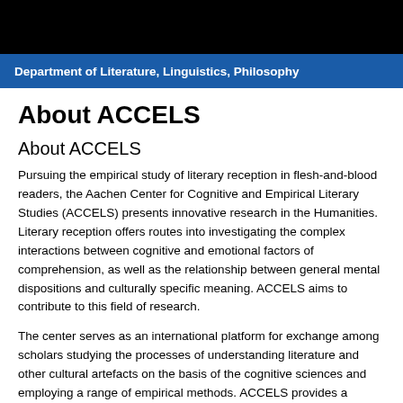Department of Literature, Linguistics, Philosophy
About ACCELS
About ACCELS
Pursuing the empirical study of literary reception in flesh-and-blood readers, the Aachen Center for Cognitive and Empirical Literary Studies (ACCELS) presents innovative research in the Humanities. Literary reception offers routes into investigating the complex interactions between cognitive and emotional factors of comprehension, as well as the relationship between general mental dispositions and culturally specific meaning. ACCELS aims to contribute to this field of research.
The center serves as an international platform for exchange among scholars studying the processes of understanding literature and other cultural artefacts on the basis of the cognitive sciences and employing a range of empirical methods. ACCELS provides a unique chance to pool the knowledge of many experts in these fields, to